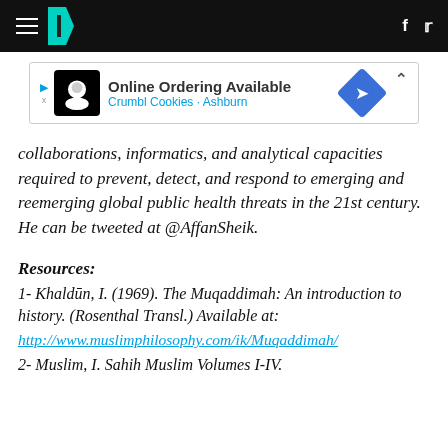HuffPost navigation header with hamburger menu, logo, facebook and twitter icons
[Figure (infographic): Advertisement banner: Online Ordering Available - Crumbl Cookies - Ashburn]
collaborations, informatics, and analytical capacities required to prevent, detect, and respond to emerging and reemerging global public health threats in the 21st century. He can be tweeted at @AffanSheik.
Resources:
1- Khaldūn, I. (1969). The Muqaddimah: An introduction to history. (Rosenthal Transl.) Available at:
http://www.muslimphilosophy.com/ik/Muqaddimah/
2- Muslim, I. Sahih Muslim Volumes I-IV.